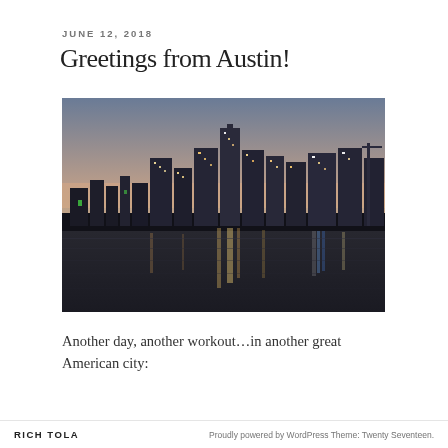JUNE 12, 2018
Greetings from Austin!
[Figure (photo): Night skyline of Austin, Texas reflected in a calm body of water, with colorful city lights and tall buildings against a twilight sky.]
Another day, another workout…in another great American city:
RICH TOLA   Proudly powered by WordPress Theme: Twenty Seventeen.